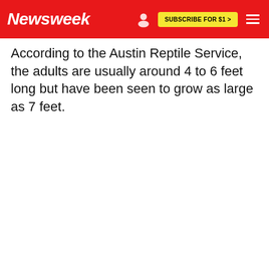Newsweek | SUBSCRIBE FOR $1 >
According to the Austin Reptile Service, the adults are usually around 4 to 6 feet long but have been seen to grow as large as 7 feet.